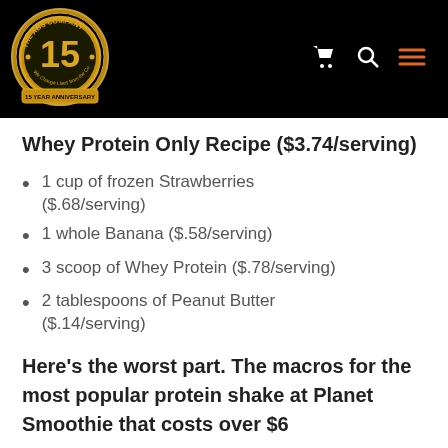[Figure (logo): The ABS Company 15 Year Anniversary gold circular logo on black background header with cart, search, and menu icons]
Whey Protein Only Recipe ($3.74/serving)
1 cup of frozen Strawberries ($.68/serving)
1 whole Banana ($.58/serving)
3 scoop of Whey Protein ($.78/serving)
2 tablespoons of Peanut Butter ($.14/serving)
Here's the worst part. The macros for the most popular protein shake at Planet Smoothie that costs over $6